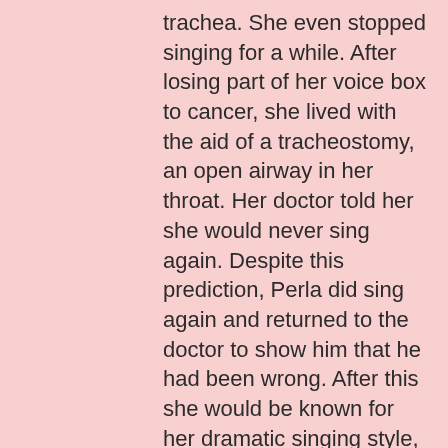trachea. She even stopped singing for a while. After losing part of her voice box to cancer, she lived with the aid of a tracheostomy, an open airway in her throat. Her doctor told her she would never sing again. Despite this prediction, Perla did sing again and returned to the doctor to show him that he had been wrong. After this she would be known for her dramatic singing style, with one hand covering her tracheostomy to control air flow.
At the urging of the Esperanza Peace and Justice Center, Cortez joined other legendary Ranchera singers Rita “La Calandria” Vidaurri, Beatriz “La Paloma del Norte” Llamas, and Blanca “Blanca Rosa” Rodríguez to form the group Las Tesoros de San Antonio in 2008. In 2013, Cortez was diagnosed with lung cancer and passed away in August 2014. Perla Tapatía’s last public appearance was